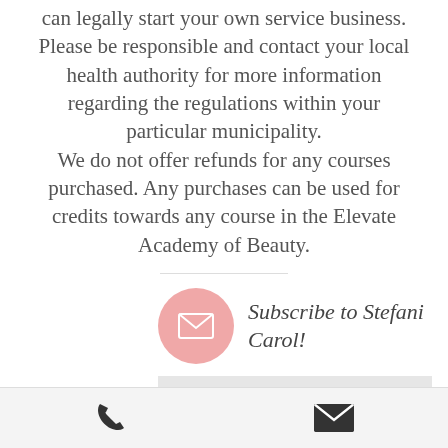can legally start your own service business. Please be responsible and contact your local health authority for more information regarding the regulations within your particular municipality. We do not offer refunds for any courses purchased. Any purchases can be used for credits towards any course in the Elevate Academy of Beauty.
[Figure (infographic): Pink circle with white envelope/email icon, next to italic text 'Subscribe to Stefani Carol!']
Email
[Figure (infographic): Bottom navigation bar with phone icon and email/envelope icon]